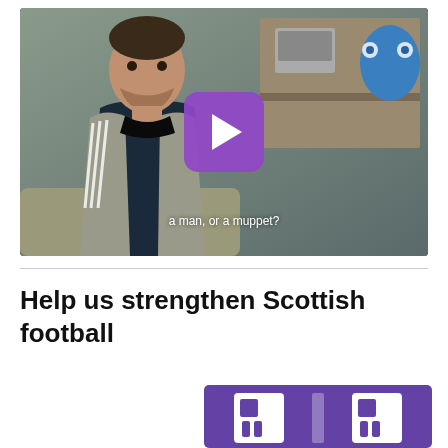[Figure (screenshot): Video thumbnail showing a man sitting on a sofa wearing a dark hoodie and tracksuit top, with bookshelves and a blue character plush in the background. A purple rounded-square play button is overlaid in the center. White subtitle text reads 'a man, or a muppet?' at the bottom.]
Help us strengthen Scottish football
[Figure (logo): Partial logo on purple background with white letter-like shapes visible, likely Scottish FA or sponsor logo]